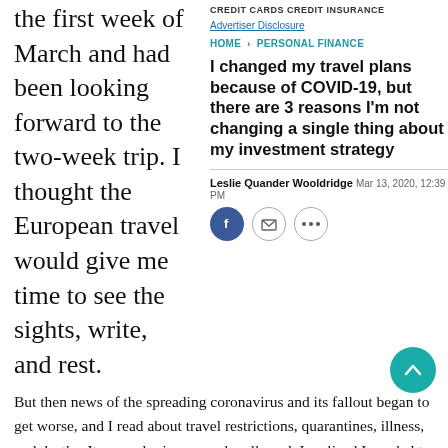the first week of March and had been looking forward to the two-week trip. I thought the European travel would give me time to see the sights, write, and rest.
CREDIT CARDS   CREDIT   INSURANCE
Advertiser Disclosure
HOME > PERSONAL FINANCE
I changed my travel plans because of COVID-19, but there are 3 reasons I'm not changing a single thing about my investment strategy
Leslie Quander Wooldridge  Mar 13, 2020, 12:39 PM
But then news of the spreading coronavirus and its fallout began to get worse, and I read about travel restrictions, quarantines, illness, and deaths. It was sobering — and really sad. I realized I needed to cancel my trip. In the days that followed, I watched the markets fall and saw worldwide news continue